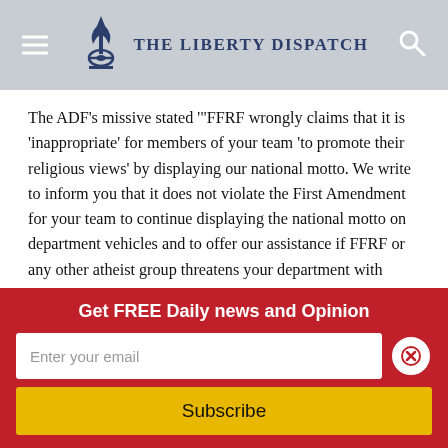The Liberty Dispatch
The ADF's missive stated '"FFRF wrongly claims that it is 'inappropriate' for members of your team 'to promote their religious views' by displaying our national motto. We write to inform you that it does not violate the First Amendment for your team to continue displaying the national motto on department vehicles and to offer our assistance if FFRF or any other atheist group threatens your department with litigation over the use of 'In God We Trust.'"
FFRF has lost cases over the motto in courts previously,
Get FREE Daily news and Opinion
Enter your email
Subscribe